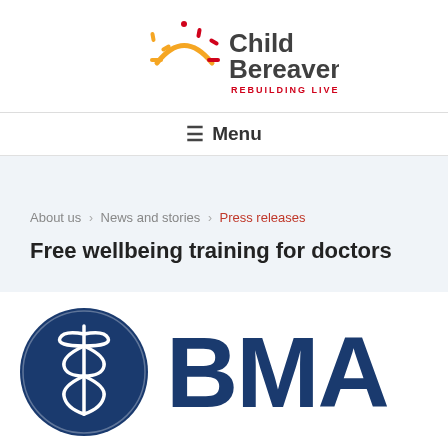[Figure (logo): Child Bereavement UK logo with sun/arc graphic and tagline REBUILDING LIVES TOGETHER]
≡ Menu
About us > News and stories > Press releases
Free wellbeing training for doctors
[Figure (logo): BMA (British Medical Association) logo — dark blue circle with snake emblem and BMA text]